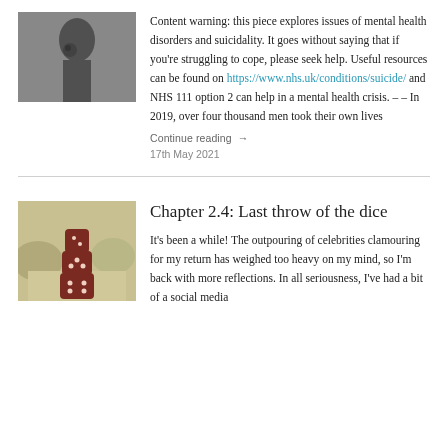[Figure (photo): Black and white photo of a person, possibly a statue or figure with a rose, cropped view]
Content warning: this piece explores issues of mental health disorders and suicidality. It goes without saying that if you're struggling to cope, please seek help. Useful resources can be found on https://www.nhs.uk/conditions/suicide/ and NHS 111 option 2 can help in a mental health crisis. – – In 2019, over four thousand men took their own lives
Continue reading →
17th May 2021
[Figure (photo): Photo of stacked dark brown dice balanced on top of each other outdoors with a blurred background]
Chapter 2.4: Last throw of the dice
It's been a while! The outpouring of celebrities clamouring for my return has weighed too heavy on my mind, so I'm back with more reflections. In all seriousness, I've had a bit of a social media